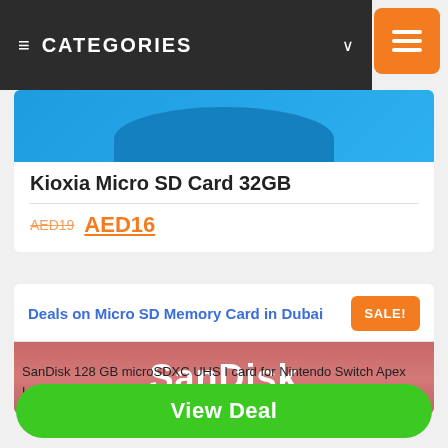CATEGORIES
[Figure (photo): Kioxia Micro SD card product image with blue background]
Kioxia Micro SD Card 32GB
AED19 AED16
Deals on Micro SD Memory Card in Dubai
[Figure (photo): SanDisk memory card product image with red/pink background showing SanDisk brand name]
SanDisk 128 GB microSDXC UHS I card for Nintendo Switch Apex Legends MicroSD SDSQXAO 128G GN3ZY, Red
View Deal